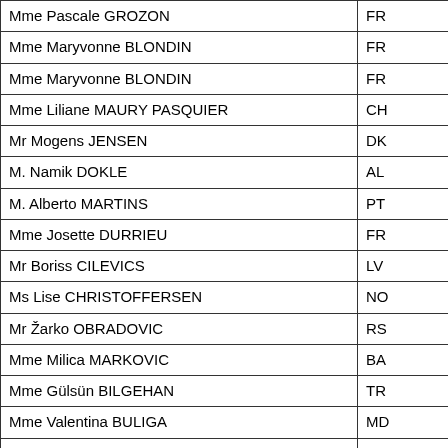| Name | Country |
| --- | --- |
| Mme Pascale GROZON | FR |
| Mme Maryvonne BLONDIN | FR |
| Mme Maryvonne BLONDIN | FR |
| Mme Liliane MAURY PASQUIER | CH |
| Mr Mogens JENSEN | DK |
| M. Namik DOKLE | AL |
| M. Alberto MARTINS | PT |
| Mme Josette DURRIEU | FR |
| Mr Boriss CILEVICS | LV |
| Ms Lise CHRISTOFFERSEN | NO |
| Mr Žarko OBRADOVIC | RS |
| Mme Milica MARKOVIC | BA |
| Mme Gülsün BILGEHAN | TR |
| Mme Valentina BULIGA | MD |
| Mr Zviad KVATCHANTIRADZE | GE |
| Mr Miroslav NENUTIL | CZ |
| Mme Soraya RODRÍGUEZ RAMOS | ES |